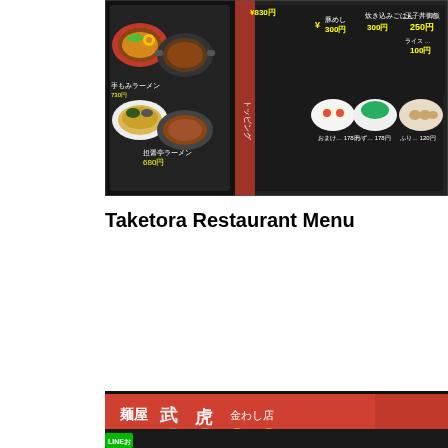[Figure (photo): Photo of a Japanese ramen restaurant menu board showing various ramen dishes with prices in Japanese yen, including bowls of ramen with different toppings and side dishes.]
Taketora Restaurant Menu
[Figure (photo): Night photo of the exterior of Menya Taketora (麺屋武虎) ramen restaurant with a bright red sign and Japanese characters, glowing paper lanterns hanging outside, and a menu board visible at the entrance.]